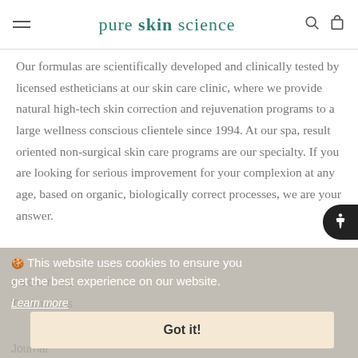pure skin science
Our formulas are scientifically developed and clinically tested by licensed estheticians at our skin care clinic, where we provide natural high-tech skin correction and rejuvenation programs to a large wellness conscious clientele since 1994. At our spa, result oriented non-surgical skin care programs are our specialty. If you are looking for serious improvement for your complexion at any age, based on organic, biologically correct processes, we are your answer.
🍪 This website uses cookies to ensure you get the best experience on our website.
Learn more
Got it!
ABOUT US
Testimonials
Journal